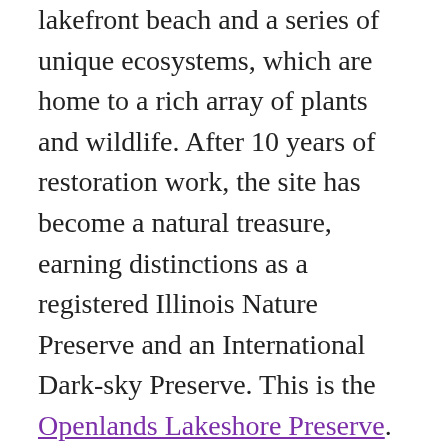lakefront beach and a series of unique ecosystems, which are home to a rich array of plants and wildlife. After 10 years of restoration work, the site has become a natural treasure, earning distinctions as a registered Illinois Nature Preserve and an International Dark-sky Preserve. This is the Openlands Lakeshore Preserve.
During the fall, this preserve is a beauty to behold. The changing leaves paint the bluffs and ravines in deep reds and vibrant yellows, accompanied by the more muted yellows, whites, and purples of goldenrods and asters. Birds hop around the trails and land in the trees, taking a break from their long fall migration. Small mammals like squirrels and